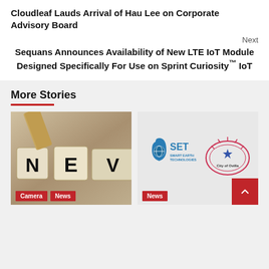Cloudleaf Lauds Arrival of Hau Lee on Corporate Advisory Board
Next
Sequans Announces Availability of New LTE IoT Module Designed Specifically For Use on Sprint Curiosity™ IoT
More Stories
[Figure (photo): Photo of wooden letter dice spelling 'NEW' on a table, with camera and news tags]
[Figure (logo): SET Smart Earth Technologies logo and City of Ovilla logo side by side, with a news tag and scroll-to-top button]